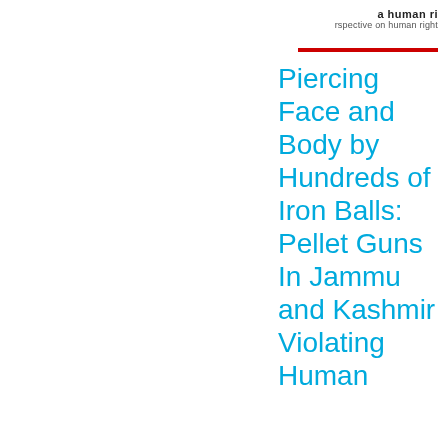a human ri rspective on human right
Piercing Face and Body by Hundreds of Iron Balls: Pellet Guns In Jammu and Kashmir Violating Human